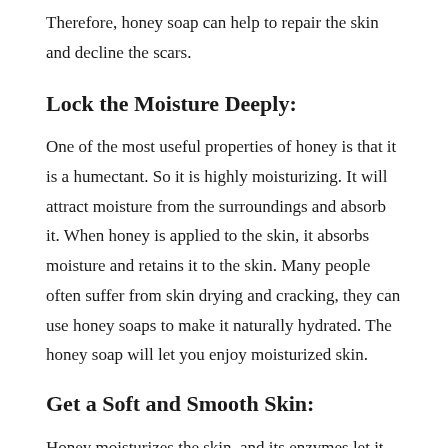Therefore, honey soap can help to repair the skin and decline the scars.
Lock the Moisture Deeply:
One of the most useful properties of honey is that it is a humectant. So it is highly moisturizing. It will attract moisture from the surroundings and absorb it. When honey is applied to the skin, it absorbs moisture and retains it to the skin. Many people often suffer from skin drying and cracking, they can use honey soaps to make it naturally hydrated. The honey soap will let you enjoy moisturized skin.
Get a Soft and Smooth Skin:
Honey moisturizes the skin, and its enzymes let it flow into the skin. When the honey absorbs the moisture, ...